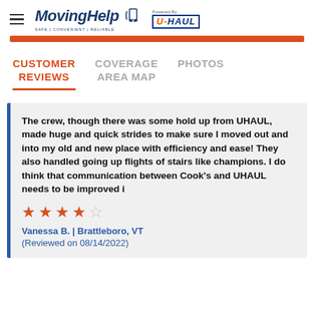[Figure (logo): MovingHelp logo with hamburger menu icon and U-Haul powered by badge]
CUSTOMER REVIEWS | COVERAGE AREA MAP | PHOTOS
The crew, though there was some hold up from UHAUL, made huge and quick strides to make sure I moved out and into my old and new place with efficiency and ease! They also handled going up flights of stairs like champions. I do think that communication between Cook's and UHAUL needs to be improved i
★★★★☆
Vanessa B. | Brattleboro, VT
(Reviewed on 08/14/2022)